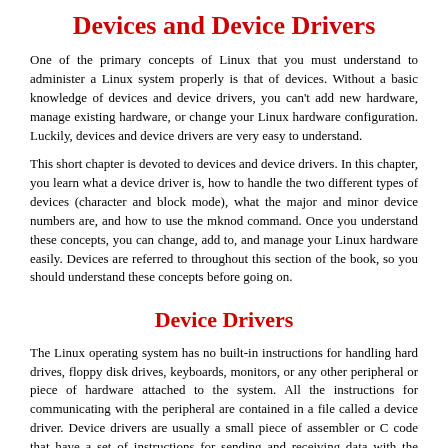Devices and Device Drivers
One of the primary concepts of Linux that you must understand to administer a Linux system properly is that of devices. Without a basic knowledge of devices and device drivers, you can't add new hardware, manage existing hardware, or change your Linux hardware configuration. Luckily, devices and device drivers are very easy to understand.
This short chapter is devoted to devices and device drivers. In this chapter, you learn what a device driver is, how to handle the two different types of devices (character and block mode), what the major and minor device numbers are, and how to use the mknod command. Once you understand these concepts, you can change, add to, and manage your Linux hardware easily. Devices are referred to throughout this section of the book, so you should understand these concepts before going on.
Device Drivers
The Linux operating system has no built-in instructions for handling hard drives, floppy disk drives, keyboards, monitors, or any other peripheral or piece of hardware attached to the system. All the instructions for communicating with the peripheral are contained in a file called a device driver. Device drivers are usually a small piece of assembler or C code that have a set of instructions for sending and receiving data with the device.